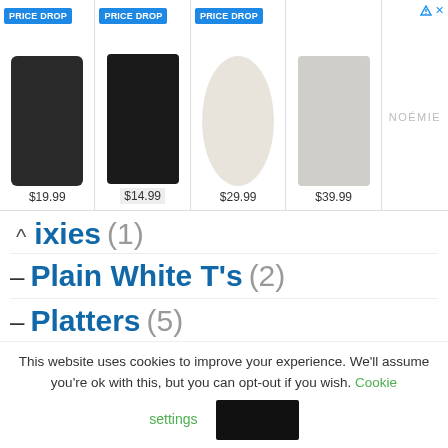[Figure (screenshot): Ad banner showing 4 product items with PRICE DROP badges and prices: $19.99, $14.99, $29.99, $39.99, and a NOÉMIE brand logo area]
ixies (1)
Plain White T's (2)
Platters (5)
Pochill (1)
Pogues (12)
Police (2)
This website uses cookies to improve your experience. We'll assume you're ok with this, but you can opt-out if you wish. Cookie settings [Accept button]